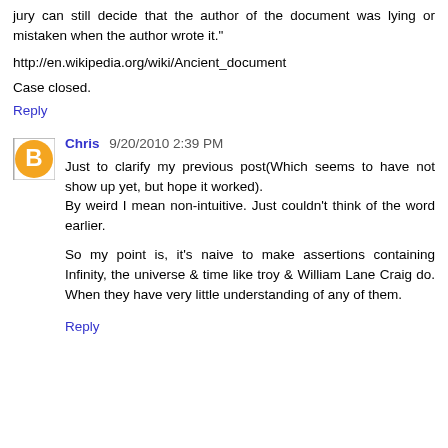jury can still decide that the author of the document was lying or mistaken when the author wrote it."
http://en.wikipedia.org/wiki/Ancient_document
Case closed.
Reply
Chris 9/20/2010 2:39 PM
Just to clarify my previous post(Which seems to have not show up yet, but hope it worked).
By weird I mean non-intuitive. Just couldn't think of the word earlier.

So my point is, it's naive to make assertions containing Infinity, the universe & time like troy & William Lane Craig do. When they have very little understanding of any of them.
Reply